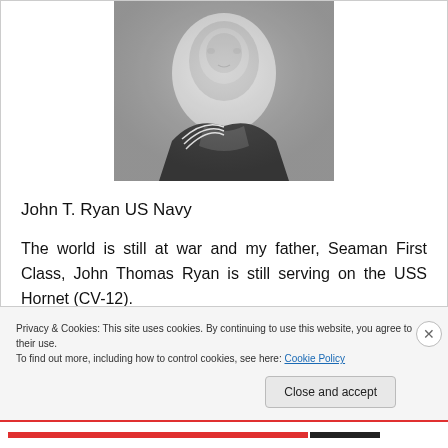[Figure (photo): Black and white portrait photograph of John T. Ryan in US Navy sailor uniform]
John T. Ryan US Navy
The world is still at war and my father, Seaman First Class, John Thomas Ryan is still serving on the USS Hornet (CV-12).
Privacy & Cookies: This site uses cookies. By continuing to use this website, you agree to their use.
To find out more, including how to control cookies, see here: Cookie Policy
Close and accept